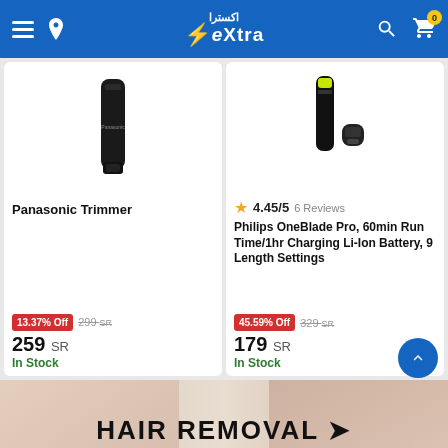extra (eXtra stores)
[Figure (photo): Panasonic Trimmer product image - black electric trimmer]
Panasonic Trimmer
13.37% Off  299 SR  259 SR  In Stock
[Figure (photo): Philips OneBlade Pro product image - electric shaver with attachments]
4.45/5  6 Reviews
Philips OneBlade Pro, 60min Run Time/1hr Charging Li-Ion Battery, 9 Length Settings
45.59% Off  329 SR  179 SR  In Stock
[Figure (photo): Hair removal banner - hands with wax strip, partially visible text HAIR REMOVAL]